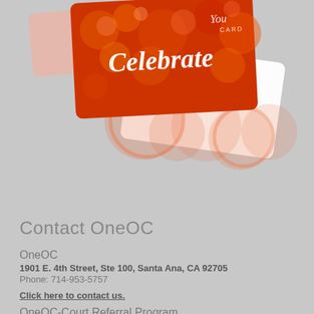[Figure (illustration): Gift cards stacked at an angle — one orange card with bokeh circles and 'Celebrate' in white script text, and 'You CARD' text; another white card with orange circle pattern partially visible underneath. Set on a light gray background.]
Contact OneOC
OneOC
1901 E. 4th Street, Ste 100, Santa Ana, CA 92705
Phone: 714-953-5757
Click here to contact us.
OneOC-Court Referral Program
1901 E. 4th Street, Ste 180, Santa Ana, CA 92705
Email: crpstaff@OneOC.org
Phone: 714-953-5597
Fax: 714-953-1116